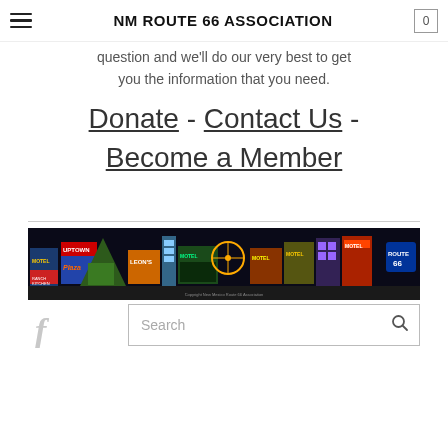NM ROUTE 66 ASSOCIATION
question and we'll do our very best to get you the information that you need.
Donate - Contact Us - Become a Member
[Figure (illustration): Route 66 New Mexico Association banner showing colorful neon signs of motels, restaurants and buildings along the route. Copyright New Mexico Route 66 Association.]
[Figure (logo): Facebook 'f' logo icon in light gray]
Search